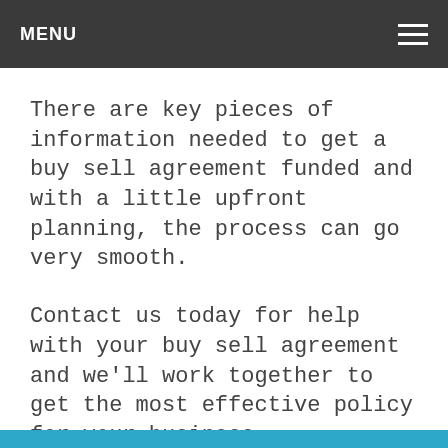MENU
There are key pieces of information needed to get a buy sell agreement funded and with a little upfront planning, the process can go very smooth.
Contact us today for help with your buy sell agreement and we’ll work together to get the most effective policy for your business.